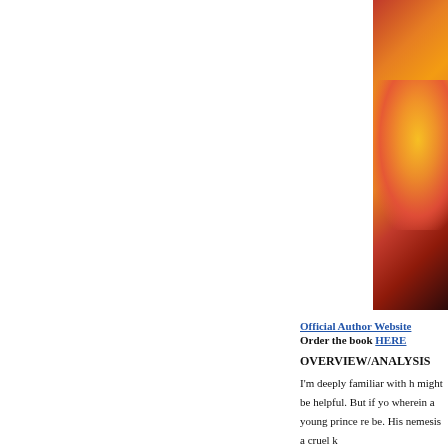[Figure (photo): Partial book cover image showing flames on the right side against a dark/white background]
Official Author Website
Order the book HERE
OVERVIEW/ANALYSIS
I'm deeply familiar with h might be helpful. But if yo wherein a young prince re be. His nemesis a cruel k